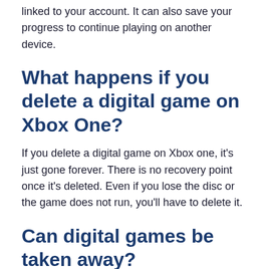linked to your account. It can also save your progress to continue playing on another device.
What happens if you delete a digital game on Xbox One?
If you delete a digital game on Xbox one, it's just gone forever. There is no recovery point once it's deleted. Even if you lose the disc or the game does not run, you'll have to delete it.
Can digital games be taken away?
Yes, your account can be confiscated for